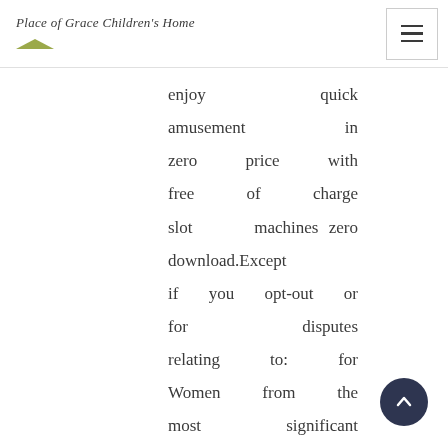Place of Grace Children's Home
enjoy quick amusement in zero price with free of charge slot machines zero download.Except if you opt-out or for disputes relating to: for Women from the most significant online variety at